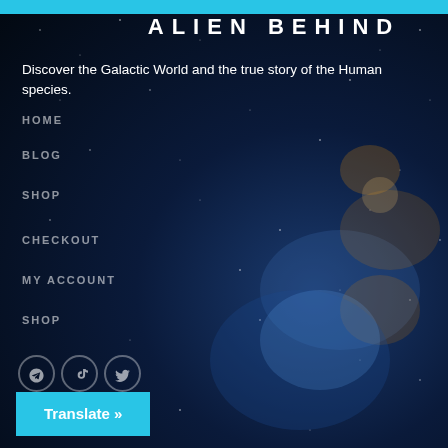[Figure (screenshot): Website mobile navigation menu overlay on a dark galaxy/space background image. Cyan top bar, title text 'ALIEN BEHIND' partially visible at top.]
ALIEN BEHIND
Discover the Galactic World and the true story of the Human species.
HOME
BLOG
SHOP
CHECKOUT
MY ACCOUNT
SHOP
Translate »